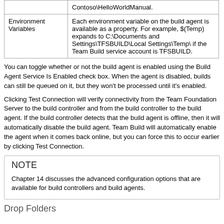|  |  |
| --- | --- |
|  | Contoso\HelloWorldManual. |
| Environment Variables | Each environment variable on the build agent is available as a property. For example, $(Temp) expands to C:\Documents and Settings\TFSBUILD\Local Settings\Temp\ if the Team Build service account is TFSBUILD. |
You can toggle whether or not the build agent is enabled using the Build Agent Service Is Enabled check box. When the agent is disabled, builds can still be queued on it, but they won't be processed until it's enabled.
Clicking Test Connection will verify connectivity from the Team Foundation Server to the build controller and from the build controller to the build agent. If the build controller detects that the build agent is offline, then it will automatically disable the build agent. Team Build will automatically enable the agent when it comes back online, but you can force this to occur earlier by clicking Test Connection.
NOTE
Chapter 14 discusses the advanced configuration options that are available for build controllers and build agents.
Drop Folders